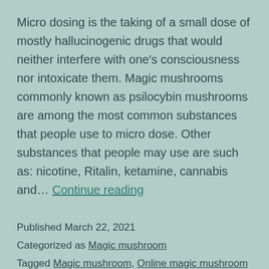Micro dosing is the taking of a small dose of mostly hallucinogenic drugs that would neither interfere with one's consciousness nor intoxicate them. Magic mushrooms commonly known as psilocybin mushrooms are among the most common substances that people use to micro dose. Other substances that people may use are such as: nicotine, Ritalin, ketamine, cannabis and… Continue reading
Published March 22, 2021
Categorized as Magic mushroom
Tagged Magic mushroom, Online magic mushroom